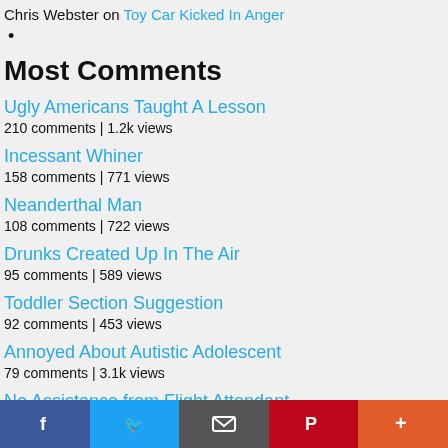Chris Webster on Toy Car Kicked In Anger
•
Most Comments
Ugly Americans Taught A Lesson
210 comments | 1.2k views
Incessant Whiner
158 comments | 771 views
Neanderthal Man
108 comments | 722 views
Drunks Created Up In The Air
95 comments | 589 views
Toddler Section Suggestion
92 comments | 453 views
Annoyed About Autistic Adolescent
79 comments | 3.1k views
No Assistance from Flight Attendant
Share bar: Facebook, Twitter, Email, Pinterest, More